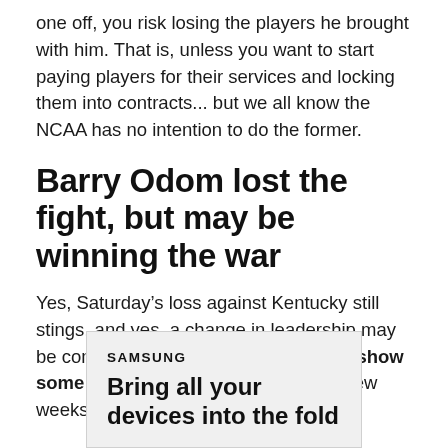one off, you risk losing the players he brought with him. That is, unless you want to start paying players for their services and locking them into contracts... but we all know the NCAA has no intention to do the former.
Barry Odom lost the fight, but may be winning the war
Yes, Saturday’s loss against Kentucky still stings, and yes, a change in leadership may be coming if the Tigers aren’t able to show some sort of progress over the next few weeks.
[Figure (other): Samsung advertisement box with text: SAMSUNG and 'Bring all your devices into the fold']